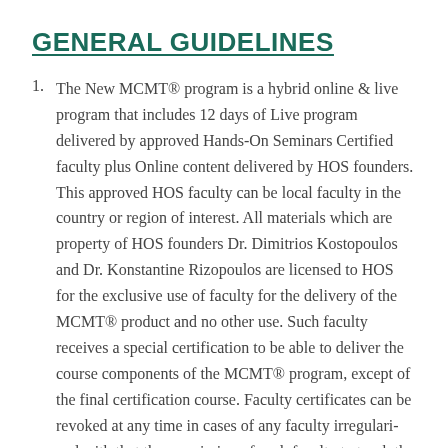GENERAL GUIDELINES
The New MCMT® program is a hybrid online & live program that includes 12 days of Live program delivered by approved Hands-On Seminars Certified faculty plus Online content delivered by HOS founders. This approved HOS faculty can be local faculty in the country or region of interest. All materials which are property of HOS founders Dr. Dimitrios Kostopoulos and Dr. Konstantine Rizopoulos are licensed to HOS for the exclusive use of faculty for the delivery of the MCMT® product and no other use. Such faculty receives a special certification to be able to deliver the course components of the MCMT® program, except of the final certification course. Faculty certificates can be revoked at any time in cases of any faculty irregularity and with that the permission of such faculty to teach the